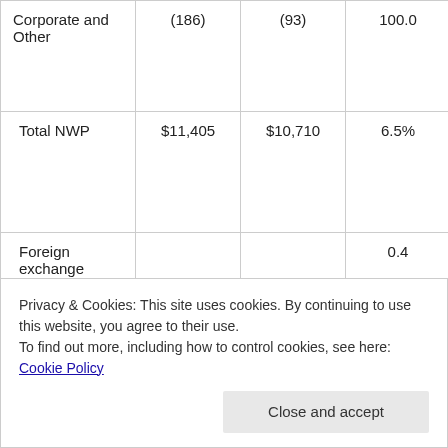| Corporate and Other | (186) | (93) | 100.0 | (202) | (1 |
| Total NWP | $11,405 | $10,710 | 6.5% | $32,651 | $3 |
| Foreign exchange effect on growth |  |  | 0.4 |  |  |
Privacy & Cookies: This site uses cookies. By continuing to use this website, you agree to their use.
To find out more, including how to control cookies, see here: Cookie Policy